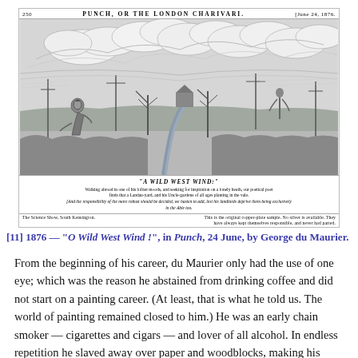[Figure (illustration): A Victorian-era Punch magazine illustration titled 'O Wild West Wind!' showing a kneeling figure in a rural landscape with dramatic clouds and trees, published 24 June 1876. The page header reads 'PUNCH, OR THE LONDON CHARIVARI' with page number 250 and date June 24, 1876. Below the illustration caption text and bottom bar reading 'THE SCIENCE SHOW, SOUTH KENSINGTON.']
[11] 1876 — "O Wild West Wind !", in Punch, 24 June, by George du Maurier.
From the beginning of his career, du Maurier only had the use of one eye; which was the reason he abstained from drinking coffee and did not start on a painting career. (At least, that is what he told us. The world of painting remained closed to him.) He was an early chain smoker — cigarettes and cigars — and lover of all alcohol. In endless repetition he slaved away over paper and woodblocks, making his 'innumerable little pictures in black and white' as he called them. Besides his regular work for Punch he did numerous